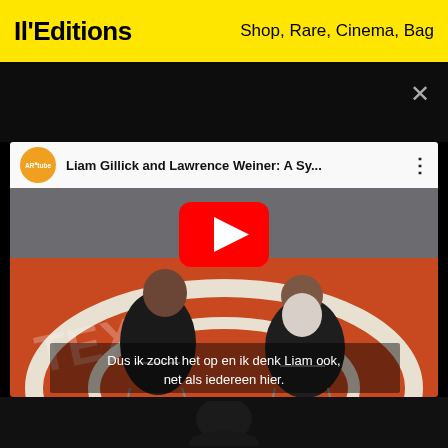Il'Editions   Shop, Rare, Cinema, Bag
[Figure (screenshot): YouTube embedded video player showing two men seated on chairs on an orange/brown painted floor with large graphic text. Left man in black suit, right man with long white beard. Video title: 'Liam Gillick and Lawrence Weiner: A Sy...' from ARitube channel. Large red YouTube play button overlay. Dutch subtitle text: 'Dus ik zocht het op en ik denk Liam ook, net als iedereen hier.' Close X button in upper right. Dark overlay strip above video.]